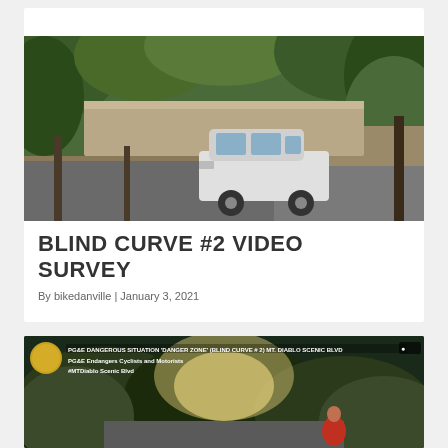[Figure (photo): A white SUV driving on a curved road surrounded by trees and a concrete wall — a blind curve on what appears to be a residential or scenic road.]
BLIND CURVE #2 VIDEO SURVEY
By bikedanville | January 3, 2021
[Figure (screenshot): Video thumbnail showing a dangerous blind curve situation on Mt. Diablo Scenic Blvd with overlay text: PG&E DANGEROUS SITUATION 'DANGER ZONE' (BLIND CURVE #2) MT. DIABLO SCENIC BLVD / PG&E Endangers Cyclists and Motorists / #MTDiablo Scenic Blvd]